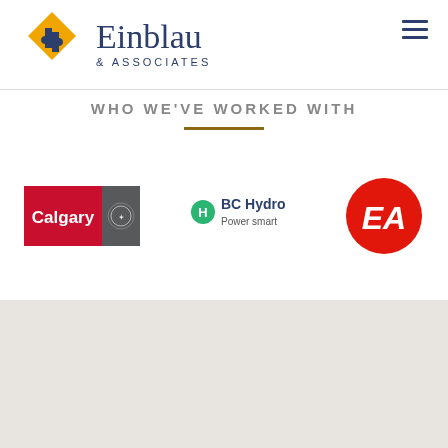[Figure (logo): Einblau & Associates logo with puzzle piece icon in navy and gold, large version in header]
[Figure (other): Hamburger menu icon (three horizontal lines) in navy blue]
WHO WE'VE WORKED WITH
[Figure (other): Gold/brown horizontal divider line]
[Figure (logo): City of Calgary logo - red rectangle with Calgary text in white and grey section with city crest]
[Figure (logo): BC Hydro Power Smart logo - green circle with H icon, BC Hydro text and Power smart subtitle]
[Figure (logo): EA (Electronic Arts) logo - white EA letters on red circle]
[Figure (logo): Einblau & Associates logo smaller version in footer gray section]